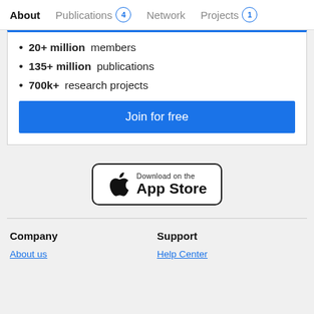About   Publications 4   Network   Projects 1
20+ million members
135+ million publications
700k+ research projects
Join for free
[Figure (illustration): Download on the App Store button with Apple logo]
Company
Support
About us
Help Center